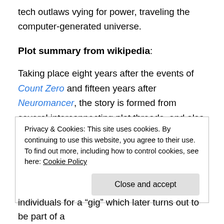tech outlaws vying for power, traveling the computer-generated universe.
Plot summary from wikipedia:
Taking place eight years after the events of Count Zero and fifteen years after Neuromancer, the story is formed from several interconnecting plot threads, and also features characters from Gibson's previous works (such as Molly Millions, the razor-fingered mercenary from
Privacy & Cookies: This site uses cookies. By continuing to use this website, you agree to their use.
To find out more, including how to control cookies, see here: Cookie Policy
individuals for a "gig" which later turns out to be part of a